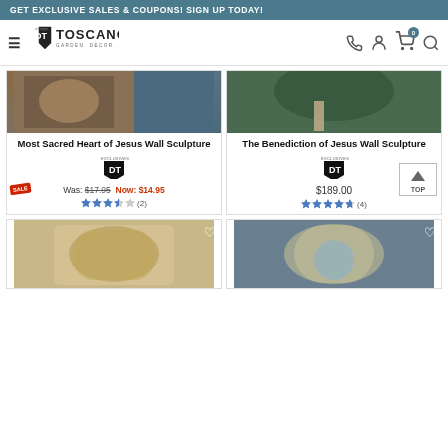GET EXCLUSIVE SALES & COUPONS! SIGN UP TODAY!
[Figure (logo): Design Toscano logo with shield emblem and text GARDEN. DECOR. AMAZING.]
Most Sacred Heart of Jesus Wall Sculpture
Was: $17.95  Now: $14.95
3.5 stars (2)
The Benediction of Jesus Wall Sculpture
$189.00
4.5 stars (4)
[Figure (photo): Bottom left product image - religious wall sculpture in gold]
[Figure (photo): Bottom right product image - religious wall sculpture in blue]